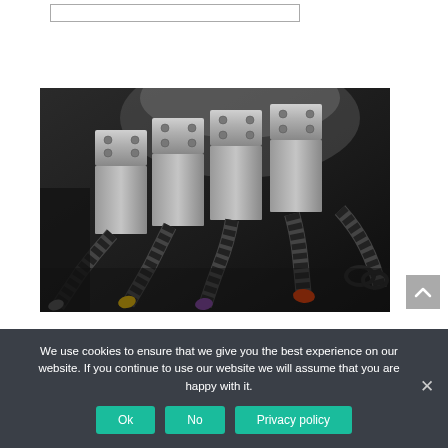[Figure (other): A search/input text box with a thin border, partially visible at top of page]
[Figure (photo): Close-up photograph of multiple industrial cable connectors plugged into a metal panel/housing. The cables have corrugated black sheaths and colored rubber boots: white, yellow, purple/violet, red, and black. The metal connectors are silver/chrome colored with visible screws.]
We use cookies to ensure that we give you the best experience on our website. If you continue to use our website we will assume that you are happy with it.
Ok
No
Privacy policy